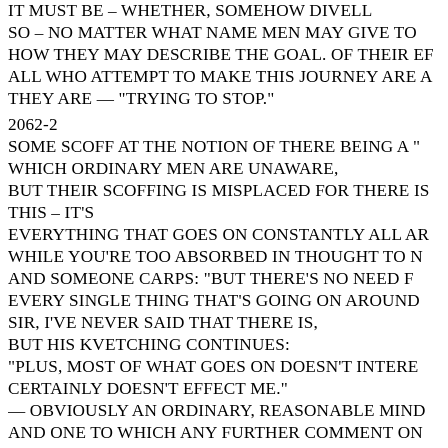IT MUST BE – WHETHER, SOMEHOW DIVELL SO – NO MATTER WHAT NAME MEN MAY GIVE TO HOW THEY MAY DESCRIBE THE GoAL. OF THEIR EF ALL WHO ATTEMPT TO MAKE THIS JOURNEY ARE A THEY ARE — "TRYING TO STOP."
2062-2
SOME SCOFF AT THE NOTION OF THERE BEING A " WHICH ORDINARY MEN ARE UNAWARE, BUT THEIR SCOFFING IS MISPLACED FOR THERE IS THIS – IT'S EVERYTHING THAT GOES ON CONSTANTLY ALL AR WHILE YOU'RE TOO ABSORBED IN THOUGHT TO N AND SOMEONE CARPS: "BUT THERE'S NO NEED F EVERY SINGLE THING THAT'S GOING ON AROUND SIR, I'VE NEVER SAID THAT THERE IS, BUT HIS KVETCHING CONTINUES: "PLUS, MOST OF WHAT GOES ON DOESN'T INTERE CERTAINLY DOESN'T EFFECT ME." — OBVIOUSLY AN ORDINARY, REASONABLE MIND AND ONE TO WHICH ANY FURTHER COMMENT ON